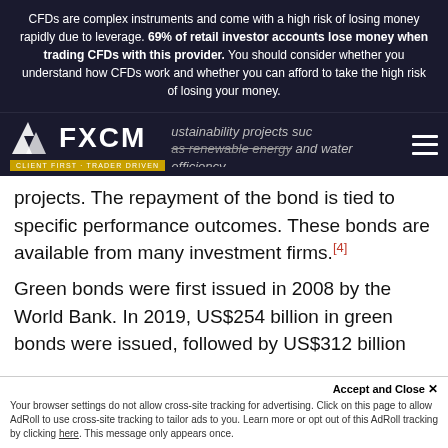CFDs are complex instruments and come with a high risk of losing money rapidly due to leverage. 69% of retail investor accounts lose money when trading CFDs with this provider. You should consider whether you understand how CFDs work and whether you can afford to take the high risk of losing your money.
[Figure (logo): FXCM logo with tagline CLIENT FIRST · TRADER DRIVEN]
sustainability projects such as renewable energy and water efficiency projects. The repayment of the bond is tied to specific performance outcomes. These bonds are available from many investment firms.[4]
Green bonds were first issued in 2008 by the World Bank. In 2019, US$254 billion in green bonds were issued, followed by US$312 billion
Accept and Close ✕  Your browser settings do not allow cross-site tracking for advertising. Click on this page to allow AdRoll to use cross-site tracking to tailor ads to you. Learn more or opt out of this AdRoll tracking by clicking here. This message only appears once.